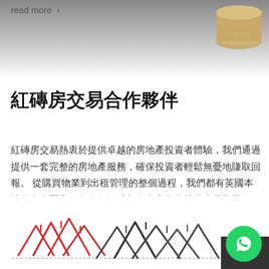[Figure (photo): Top banner with gradient background (dark grey to light) and coins/stacked money image in the upper right corner. 'read more >' link text visible at top left.]
紅磚房交易合作夥伴
紅磚房交易熱衷於提供卓越的房地產投資者體驗，我們通過提供一套完整的房地產服務，確保投資者輕鬆無憂地賺取回報。 從購買物業到出租管理的整個過程，我們都有英國本地的合作團隊，在各個領域都有專家為您提供專業指導。
[Figure (illustration): Hand-drawn sketch illustration of red brick row houses / rooftops in red and black crayon/marker style at the bottom of the page. WhatsApp button (green circle with phone icon) in bottom right corner.]